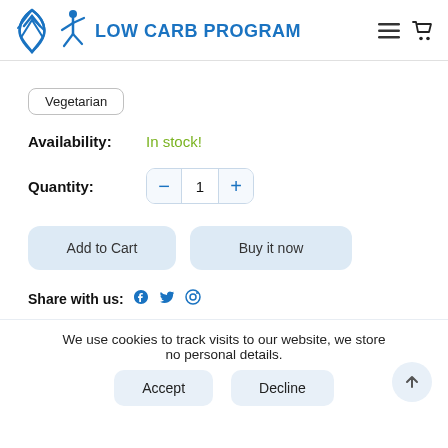LOW CARB PROGRAM
Vegetarian
Availability: In stock!
Quantity: 1
Add to Cart
Buy it now
Share with us:
We use cookies to track visits to our website, we store no personal details.
Accept
Decline